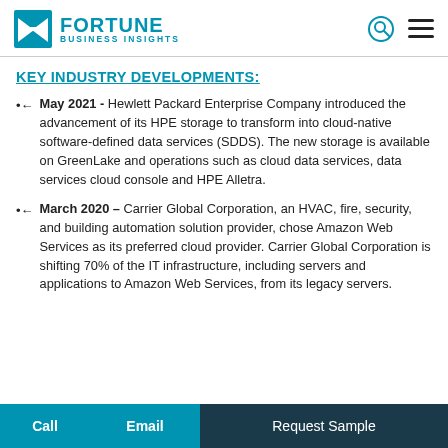FORTUNE BUSINESS INSIGHTS
KEY INDUSTRY DEVELOPMENTS:
May 2021 - Hewlett Packard Enterprise Company introduced the advancement of its HPE storage to transform into cloud-native software-defined data services (SDDS). The new storage is available on GreenLake and operations such as cloud data services, data services cloud console and HPE Alletra.
March 2020 – Carrier Global Corporation, an HVAC, fire, security, and building automation solution provider, chose Amazon Web Services as its preferred cloud provider. Carrier Global Corporation is shifting 70% of the IT infrastructure, including servers and applications to Amazon Web Services, from its legacy servers.
Call   Email   Request Sample